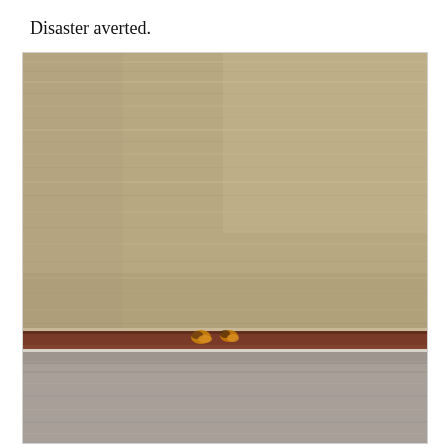Disaster averted.
[Figure (photo): Close-up photograph of weathered wooden boards or planks with a horizontal gap or seam between them. Two small bees or insects are visible at the gap/seam between the upper and lower boards. The upper board shows a textured, grayish-brown wood grain surface. A dark reddish-brown horizontal rail or trim is visible at the seam. The lower board also appears weathered and grayish.]